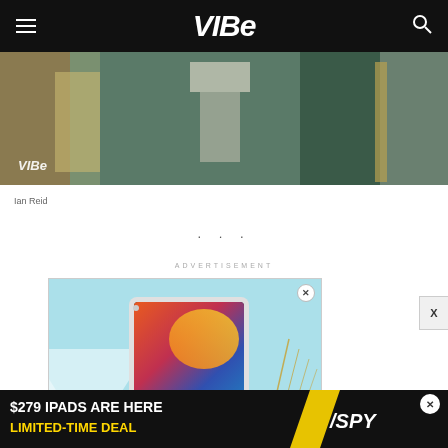VIBE
[Figure (photo): Photo strip showing person in white shirt standing in front of dark green marble wall, with VIBE watermark at bottom left]
Ian Reid
. . .
ADVERTISEMENT
[Figure (photo): Advertisement showing an iPad tablet on blue background with gold decorative lines]
[Figure (photo): Bottom banner advertisement: $279 IPADS ARE HERE LIMITED-TIME DEAL / SPY]